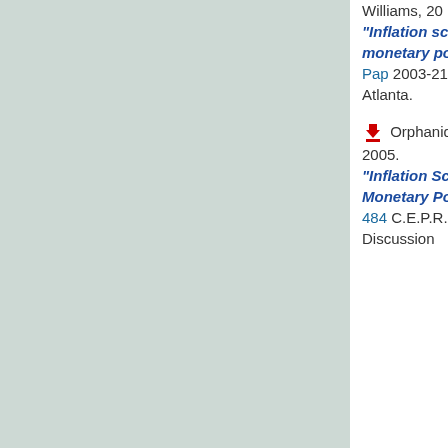Williams, 20"Inflation scares and forecast-based monetary policy," FRBF Atlanta Working Paper 2003-21, Federal Reserve Bank of Atlanta.
Orphanides, Athanasios and Williams, John C, 2005. "Inflation Scares and Forecast-Based Monetary Policy," CEP Discussion Papers 484, C.E.P.R. Discussion
Top of page